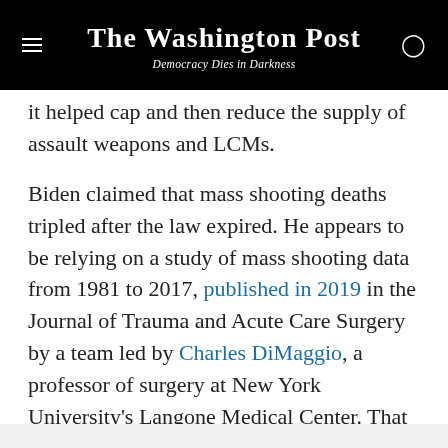The Washington Post
Democracy Dies in Darkness
it helped cap and then reduce the supply of assault weapons and LCMs.
Biden claimed that mass shooting deaths tripled after the law expired. He appears to be relying on a study of mass shooting data from 1981 to 2017, published in 2019 in the Journal of Trauma and Acute Care Surgery by a team led by Charles DiMaggio, a professor of surgery at New York University's Langone Medical Center. That group found that an assault weapons ban would have prevented 314 out of 448, or 70 percent, of the mass shooting deaths during the years when the ban